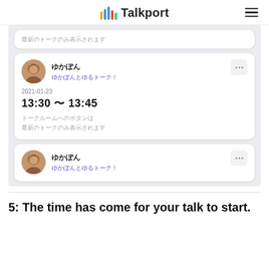Talkport
[Figure (screenshot): App screenshot showing a list of talk sessions for 'ゆかぽん' with title 'ゆかぽんとゆるトーク！'. One card shows date 2021-01-23 and time 13:30 ~ 13:45 with note that talk room button is only shown for the latest talk. A second card below shows the same user.]
5: The time has come for your talk to start.